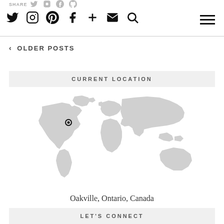SHARE twitter instagram pinterest tumblr | twitter instagram pinterest facebook + mail search | menu
< OLDER POSTS
CURRENT LOCATION
[Figure (map): World map in light gray with a location pin marker placed over North America (eastern United States/Canada region), indicating Oakville, Ontario, Canada.]
Oakville, Ontario, Canada
LET'S CONNECT